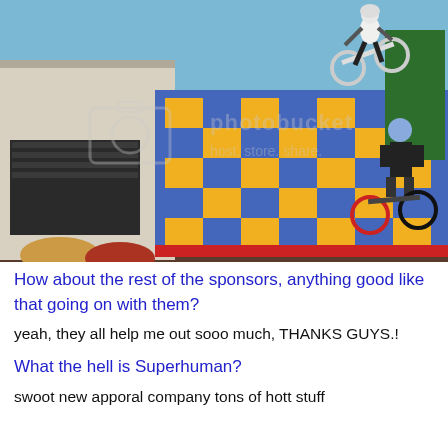[Figure (photo): A BMX rider performing a trick high in the air above a colorful checkered ramp (blue, yellow, red squares), with another rider watching from the right side. A white house garage and trees are visible in the background. A photobucket watermark is overlaid on the image.]
How about the rest of the sponsors, anything good like that going on with them?
yeah, they all help me out sooo much, THANKS GUYS.!
What the hell is Superhuman?
swoot new apporal company tons of hott stuff